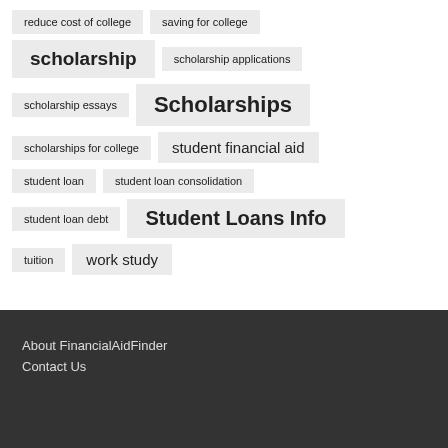reduce cost of college
saving for college
scholarship
scholarship applications
scholarship essays
Scholarships
scholarships for college
student financial aid
student loan
student loan consolidation
student loan debt
Student Loans Info
tuition
work study
About FinancialAidFinder
Contact Us